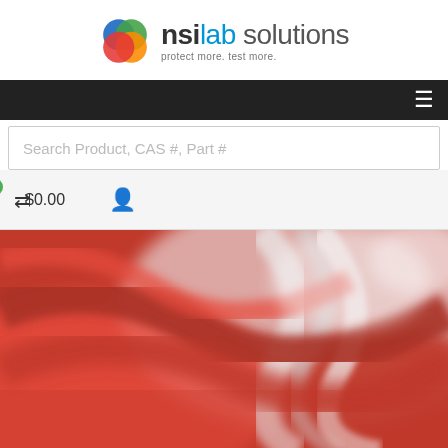[Figure (logo): NSI Lab Solutions logo with colorful overlapping circles (blue, green, orange, red/magenta) and text 'nsi lab solutions' with tagline 'protect more. test more.']
Search Product, CAS #, Part #
$0.00
[Figure (photo): Close-up blurred artistic photo of red and white/grey twisted strands or ribbons, resembling biological tissue or abstract shapes.]